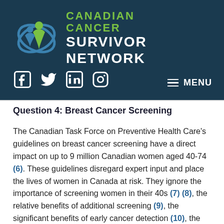[Figure (logo): Canadian Cancer Survivor Network logo with green and blue figure icon and organization name in green and white text on dark teal background]
[Figure (infographic): Social media icons: Facebook, Twitter, LinkedIn, Instagram on dark teal background]
Question 4: Breast Cancer Screening
The Canadian Task Force on Preventive Health Care's guidelines on breast cancer screening have a direct impact on up to 9 million Canadian women aged 40-74 (6). These guidelines disregard expert input and place the lives of women in Canada at risk. They ignore the importance of screening women in their 40s (7) (8), the relative benefits of additional screening (9), the significant benefits of early cancer detection (10), the findings of modern relevant data (11) (12), and the risks of breast